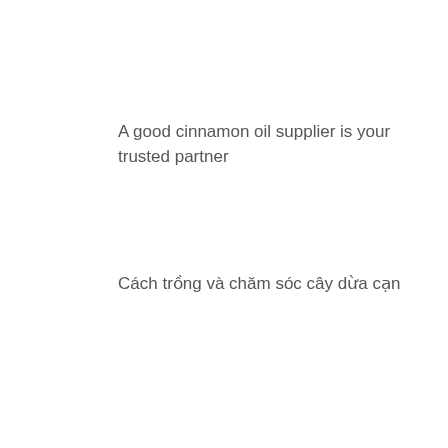A good cinnamon oil supplier is your trusted partner
Cách trồng và chăm sóc cây dừa cạn